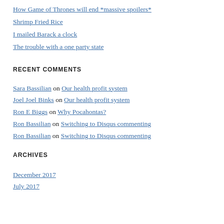How Game of Thrones will end *massive spoilers*
Shrimp Fried Rice
I mailed Barack a clock
The trouble with a one party state
RECENT COMMENTS
Sara Bassilian on Our health profit system
Joel Joel Binks on Our health profit system
Ron E Biggs on Why Pocahontas?
Ron Bassilian on Switching to Disqus commenting
Ron Bassilian on Switching to Disqus commenting
ARCHIVES
December 2017
July 2017